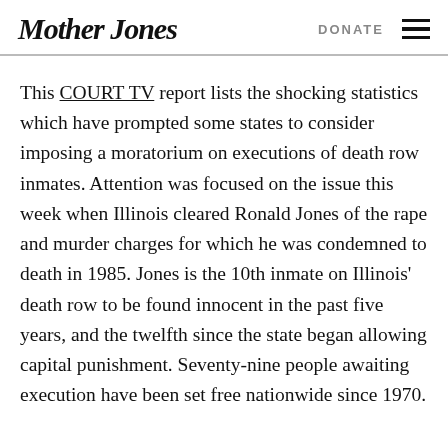Mother Jones | DONATE
This COURT TV report lists the shocking statistics which have prompted some states to consider imposing a moratorium on executions of death row inmates. Attention was focused on the issue this week when Illinois cleared Ronald Jones of the rape and murder charges for which he was condemned to death in 1985. Jones is the 10th inmate on Illinois' death row to be found innocent in the past five years, and the twelfth since the state began allowing capital punishment. Seventy-nine people awaiting execution have been set free nationwide since 1970.